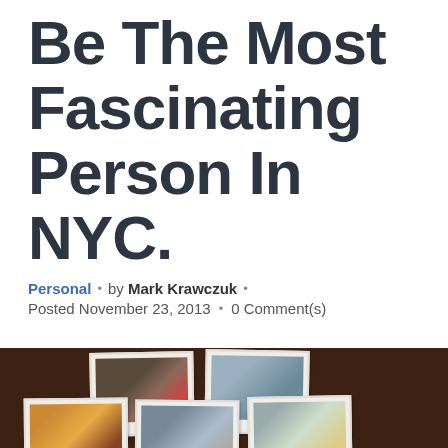Be The Most Fascinating Person In NYC.
Personal • by Mark Krawczuk • Posted November 23, 2013 • 0 Comment(s)
[Figure (photo): Collection of Polaroid-style photographs arranged on a dark wooden surface, showing NYC scenes including people posing, a subway station sign, street scenes, and city views.]